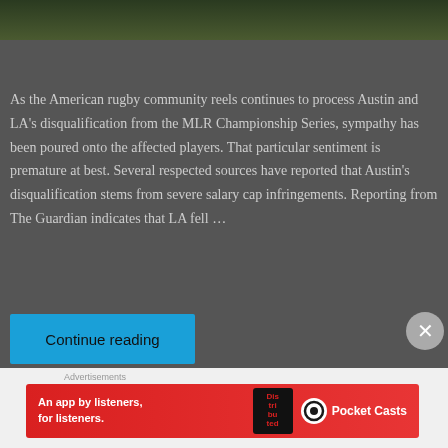[Figure (photo): Top portion of an outdoor photo with dark green foliage, partially visible at top of page]
As the American rugby community reels continues to process Austin and LA's disqualification from the MLR Championship Series, sympathy has been poured onto the affected players. That particular sentiment is premature at best. Several respected sources have reported that Austin's disqualification stems from severe salary cap infringements. Reporting from The Guardian indicates that LA fell …
Continue reading
Advertisements
[Figure (screenshot): Pocket Casts advertisement banner: 'An app by listeners, for listeners.' with Pocket Casts logo on red background]